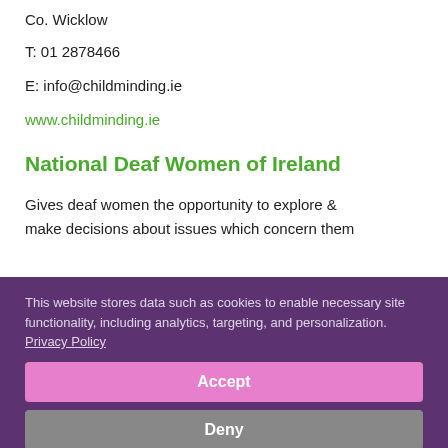Co. Wicklow
T: 01 2878466
E: info@childminding.ie
www.childminding.ie
National Deaf Women of Ireland
Gives deaf women the opportunity to explore & make decisions about issues which concern them
This website stores data such as cookies to enable necessary site functionality, including analytics, targeting, and personalization. Privacy Policy
Accept
Deny